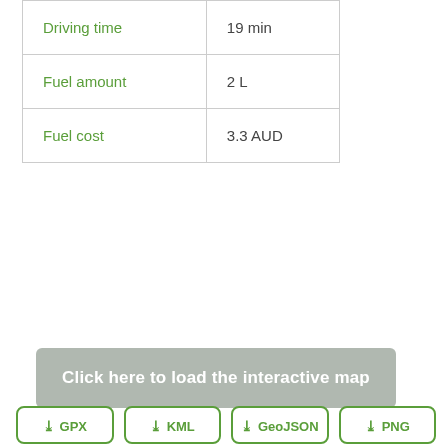| Driving time | 19 min |
| Fuel amount | 2 L |
| Fuel cost | 3.3 AUD |
Click here to load the interactive map
GPX
KML
GeoJSON
PNG